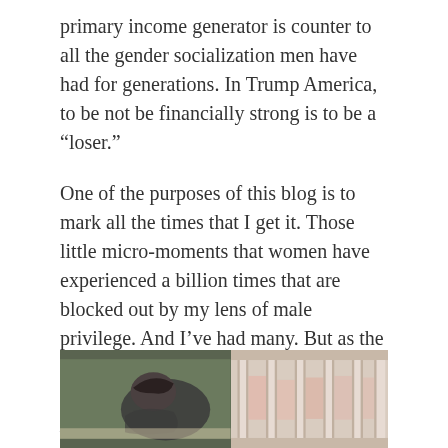primary income generator is counter to all the gender socialization men have had for generations. In Trump America, to be not be financially strong is to be a “loser.”
One of the purposes of this blog is to mark all the times that I get it. Those little micro-moments that women have experienced a billion times that are blocked out by my lens of male privilege. And I’ve had many. But as the balance bounces a bit, it may be time to write a new version of The Feminine Mystique for men who are at home with the kids and wondering if there is more to life than uploading e-coupons and catching the first half of Ellen.
[Figure (photo): Two-panel photo: left side shows a person with dark hair leaning over what appears to be a crib or surface, right side shows vertical slats (crib bars) with pinkish/light background suggesting a baby's nursery scene.]